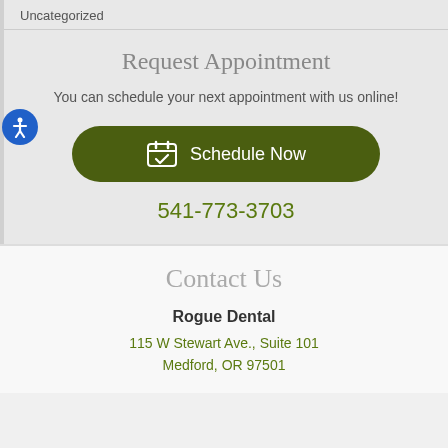Uncategorized
Request Appointment
You can schedule your next appointment with us online!
Schedule Now
541-773-3703
Contact Us
Rogue Dental
115 W Stewart Ave., Suite 101
Medford, OR 97501